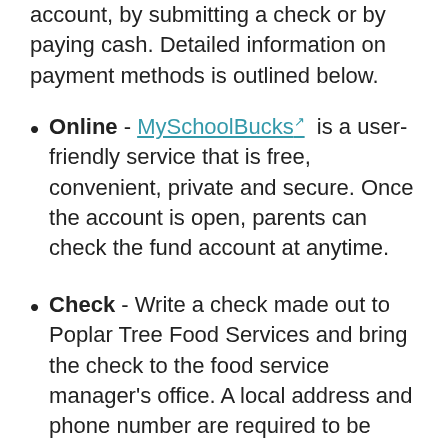account, by submitting a check or by paying cash. Detailed information on payment methods is outlined below.
Online - MySchoolBucks[link] is a user-friendly service that is free, convenient, private and secure. Once the account is open, parents can check the fund account at anytime.
Check - Write a check made out to Poplar Tree Food Services and bring the check to the food service manager's office. A local address and phone number are required to be either printed or handwritten on the check. The student name and PIN number